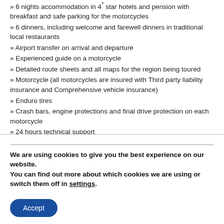» 6 nights accommodation in 4* star hotels and pension with breakfast and safe parking for the motorcycles
» 6 dinners, including welcome and farewell dinners in traditional local restaurants
» Airport transfer on arrival and departure
» Experienced guide on a motorcycle
» Detailed route sheets and all maps for the region being toured
» Motorcycle (all motorcycles are insured with Third party liability insurance and Comprehensive vehicle insurance)
» Enduro tires
» Crash bars, engine protections and final drive protection on each motorcycle
» 24 hours technical support
» Back up motorcycle
» Support VAN for luggage
We are using cookies to give you the best experience on our website.
You can find out more about which cookies we are using or switch them off in settings.
Accept